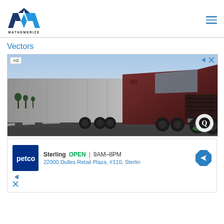[Figure (logo): Mathemerize logo: blue M shape with MATHEMERIZE text below]
Vectors
[Figure (photo): Advertisement showing a red semi-truck/lorry on a road at sunset with 'Ad' label in top-left and Q brand icon in bottom-right]
[Figure (infographic): Petco ad showing store info: Sterling OPEN 9AM-8PM, 22000 Dulles Retail Plaza, #110, Sterling with directions icon and ad controls]